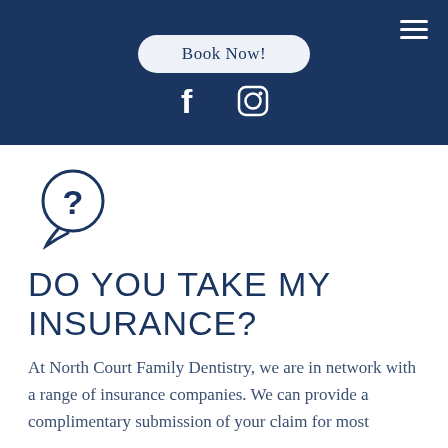Book Now!
[Figure (illustration): Speech bubble with question mark icon, dark navy outline]
DO YOU TAKE MY INSURANCE?
At North Court Family Dentistry, we are in network with a range of insurance companies. We can provide a complimentary submission of your claim for most